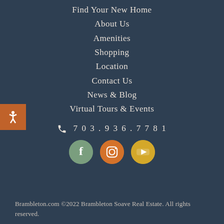Find Your New Home
About Us
Amenities
Shopping
Location
Contact Us
News & Blog
Virtual Tours & Events
703.936.7781
[Figure (illustration): Three social media icons: Facebook (green circle), Instagram (orange circle), YouTube (yellow circle)]
Brambleton.com ©2022 Brambleton Soave Real Estate. All rights reserved.